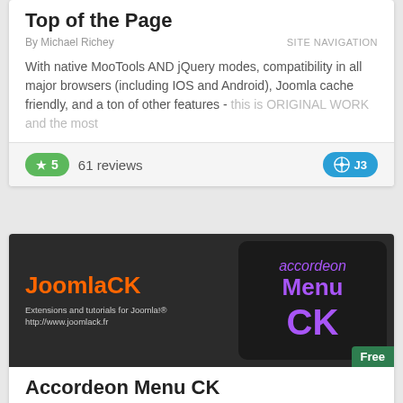Top of the Page
By Michael Richey    SITE NAVIGATION
With native MooTools AND jQuery modes, compatibility in all major browsers (including IOS and Android), Joomla cache friendly, and a ton of other features - this is ORIGINAL WORK and the most
★ 5   61 reviews   J3
[Figure (illustration): JoomlaCK banner with orange JoomlaCK logo text, subtitle 'Extensions and tutorials for Joomla! http://www.joomlack.fr', and on the right a dark box with purple 'accordeon Menu CK' text]
Accordeon Menu CK
MENU SYSTEM